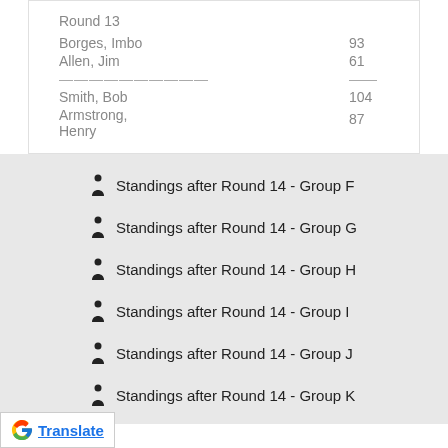Round 13
Borges, Imbo   93
Allen, Jim   61
---------- --
Smith, Bob   104
Armstrong, Henry   87
Standings after Round 14 - Group F
Standings after Round 14 - Group G
Standings after Round 14 - Group H
Standings after Round 14 - Group I
Standings after Round 14 - Group J
Standings after Round 14 - Group K
Translate